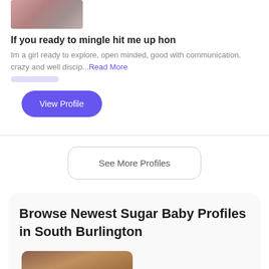[Figure (photo): Blurred profile photo thumbnail at top]
If you ready to mingle hit me up hon
Im a girl ready to explore, open minded, good with communication, crazy and well discip...Read More
View Profile
See More Profiles
Browse Newest Sugar Baby Profiles in South Burlington
[Figure (photo): Blurred profile photo in browse section]